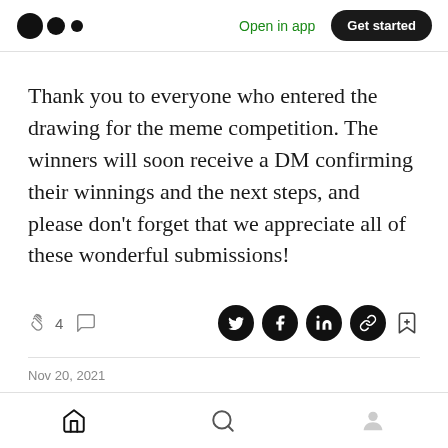Medium app header with logo, Open in app, Get started
Thank you to everyone who entered the drawing for the meme competition. The winners will soon receive a DM confirming their winnings and the next steps, and please don't forget that we appreciate all of these wonderful submissions!
4 [clap icon] [comment icon] [Twitter] [Facebook] [LinkedIn] [link] [bookmark+]
Nov 20, 2021
Bottom navigation: Home, Search, Profile